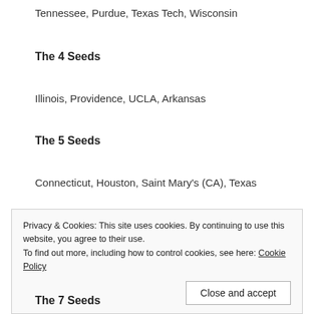Tennessee, Purdue, Texas Tech, Wisconsin
The 4 Seeds
Illinois, Providence, UCLA, Arkansas
The 5 Seeds
Connecticut, Houston, Saint Mary's (CA), Texas
Privacy & Cookies: This site uses cookies. By continuing to use this website, you agree to their use.
To find out more, including how to control cookies, see here: Cookie Policy
Close and accept
The 7 Seeds